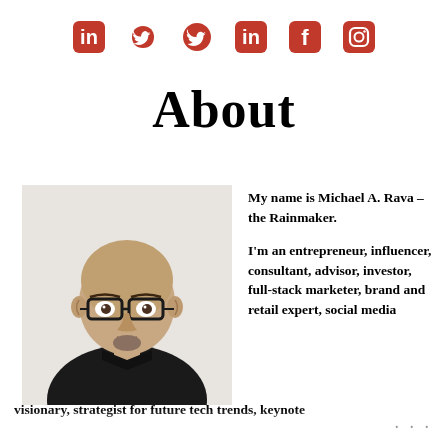[Figure (infographic): Social media icons row: LinkedIn, Twitter, Facebook, Instagram — all in red]
About
[Figure (photo): Portrait photo of a bald man with glasses, wearing a black shirt, against a white background]
My name is Michael A. Rava – the Rainmaker.

I'm an entrepreneur, influencer, consultant, advisor, investor, full-stack marketer, brand and retail expert, social media visionary, strategist for future tech trends, keynote